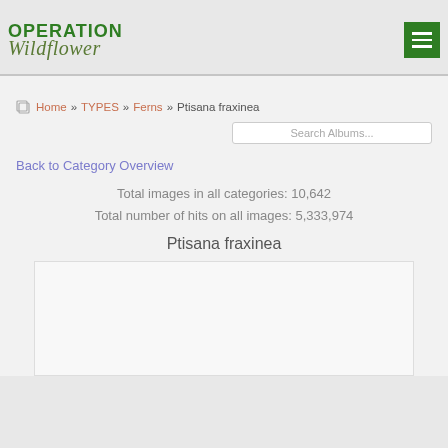OPERATION Wildflower
Home » TYPES » Ferns » Ptisana fraxinea
Search Albums...
Back to Category Overview
Total images in all categories: 10,642
Total number of hits on all images: 5,333,974
Ptisana fraxinea
[Figure (photo): Blank/loading image area for Ptisana fraxinea album]